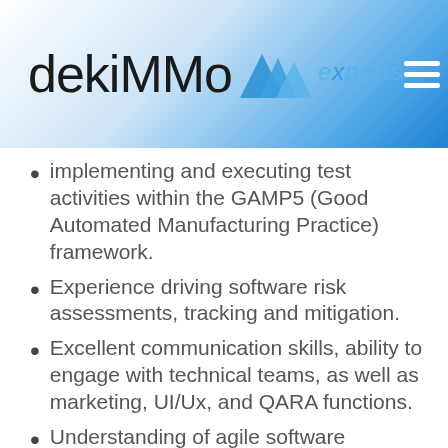[Figure (logo): Dekimo experts logo with mountain graphic and hamburger menu icon on a blue gradient header banner]
implementing and executing test activities within the GAMP5 (Good Automated Manufacturing Practice) framework.
Experience driving software risk assessments, tracking and mitigation.
Excellent communication skills, ability to engage with technical teams, as well as marketing, UI/Ux, and QARA functions.
Understanding of agile software development principles, and how to apply them within a regulated context is considered a plus.